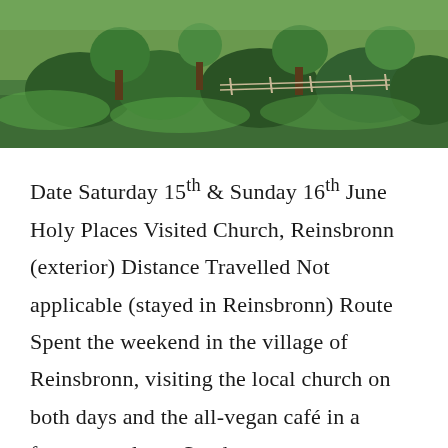[Figure (photo): Outdoor landscape photo showing green trees and shrubs in a rural countryside setting, with a green field and a fence visible in the background under daylight.]
Date Saturday 15th & Sunday 16th June Holy Places Visited Church, Reinsbronn (exterior) Distance Travelled Not applicable (stayed in Reinsbronn) Route Spent the weekend in the village of Reinsbronn, visiting the local church on both days and the all-vegan café in a former castle on Sunday.